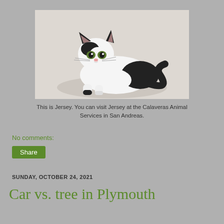[Figure (photo): A black and white kitten lying down on a light surface, looking at the camera with green eyes.]
This is Jersey. You can visit Jersey at the Calaveras Animal Services in San Andreas.
No comments:
Share
SUNDAY, OCTOBER 24, 2021
Car vs. tree in Plymouth